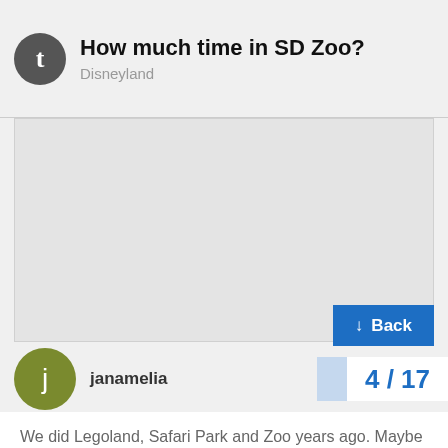How much time in SD Zoo?
Disneyland
[Figure (other): Large blank gray content area placeholder]
↓ Back
janamelia
4 / 17
We did Legoland, Safari Park and Zoo years ago. Maybe 25.